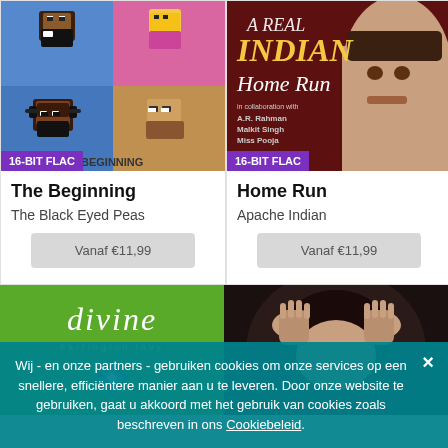[Figure (illustration): Album art for The Beginning by The Black Eyed Peas - pixel art grid of four characters on blue background with 16-BIT FLAC badge]
The Beginning
The Black Eyed Peas
Vanaf €11,99
[Figure (photo): Album art for Home Run by Apache Indian - photo of man's face on dark red background with text, 16-BIT FLAC badge]
Home Run
Apache Indian
Vanaf €11,99
[Figure (illustration): Album art for Divine by Barrington Levy - green background with 'divine' in white italic text and 'barrington levy' below]
[Figure (photo): Album art bottom right - dark photo of person with hands on head]
Wij - en onze partners - gebruiken cookies om onze services op een snellere, efficiëntere manier aan u te leveren. Door onze website te gebruiken, gaat u akkoord met het gebruik van cookies zoals beschreven in ons Cookiebeleid.